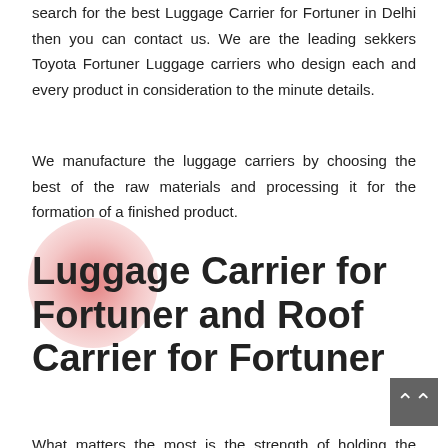search for the best Luggage Carrier for Fortuner in Delhi then you can contact us. We are the leading sekkers Toyota Fortuner Luggage carriers who design each and every product in consideration to the minute details.
We manufacture the luggage carriers by choosing the best of the raw materials and processing it for the formation of a finished product.
Luggage Carrier for Fortuner and Roof Carrier for Fortuner
What matters the most is the strength of holding the things for a